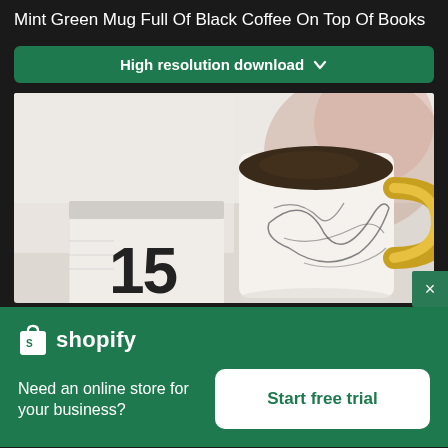Mint Green Mug Full Of Black Coffee On Top Of Books
High resolution download ↓
[Figure (photo): A mint/white mug with black line art pattern and gold handle, filled with black coffee, sitting next to a white block showing the number 15, on a light surface with blurred background]
shopify
Need an online store for your business?
Start free trial